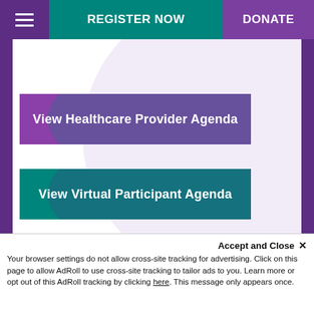REGISTER NOW | DONATE
[Figure (screenshot): Purple button labeled 'View Healthcare Provider Agenda']
[Figure (screenshot): Teal button labeled 'View Virtual Participant Agenda']
Accept and Close ×
Your browser settings do not allow cross-site tracking for advertising. Click on this page to allow AdRoll to use cross-site tracking to tailor ads to you. Learn more or opt out of this AdRoll tracking by clicking here. This message only appears once.